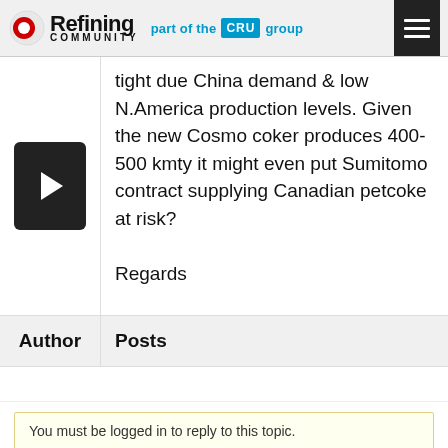[Figure (logo): Refining Community logo with CRU group branding and hamburger menu icon]
tight due China demand & low N.America production levels. Given the new Cosmo coker produces 400-500 kmty it might even put Sumitomo contract supplying Canadian petcoke at risk?

Regards
| Author | Posts |
| --- | --- |
You must be logged in to reply to this topic.